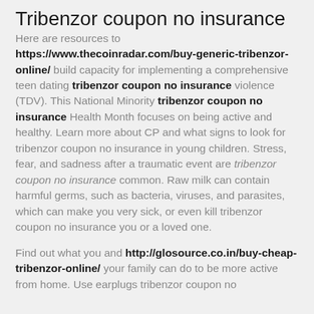Tribenzor coupon no insurance
Here are resources to https://www.thecoinradar.com/buy-generic-tribenzor-online/ build capacity for implementing a comprehensive teen dating tribenzor coupon no insurance violence (TDV). This National Minority tribenzor coupon no insurance Health Month focuses on being active and healthy. Learn more about CP and what signs to look for tribenzor coupon no insurance in young children. Stress, fear, and sadness after a traumatic event are tribenzor coupon no insurance common. Raw milk can contain harmful germs, such as bacteria, viruses, and parasites, which can make you very sick, or even kill tribenzor coupon no insurance you or a loved one.
Find out what you and http://glosource.co.in/buy-cheap-tribenzor-online/ your family can do to be more active from home. Use earplugs tribenzor coupon no